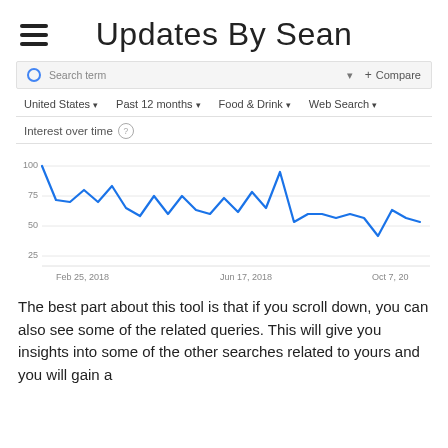Updates By Sean
[Figure (screenshot): Google Trends screenshot showing search filters: United States, Past 12 months, Food & Drink, Web Search, with a search term input and Compare button]
[Figure (line-chart): Line chart showing search interest over time from Feb 25 2018 to Oct 7 2018. Values start near 100, fluctuate between 65–95, peak around 100 mid-period, then gradually decline to around 55–60 by the end.]
The best part about this tool is that if you scroll down, you can also see some of the related queries. This will give you insights into some of the other searches related to yours and you will gain a